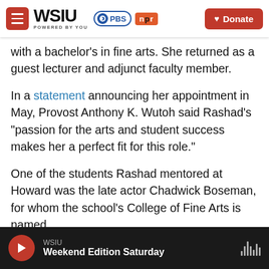[Figure (screenshot): WSIU navigation bar with menu button, WSIU logo, PBS and NPR badges, and red Donate button]
with a bachelor's in fine arts. She returned as a guest lecturer and adjunct faculty member.
In a statement announcing her appointment in May, Provost Anthony K. Wutoh said Rashad's "passion for the arts and student success makes her a perfect fit for this role."
One of the students Rashad mentored at Howard was the late actor Chadwick Boseman, for whom the school's College of Fine Arts is named.
Copyright 2022 NPR. To see more, visit
[Figure (screenshot): WSIU audio player bar showing play button, WSIU station name, and Weekend Edition Saturday program title]